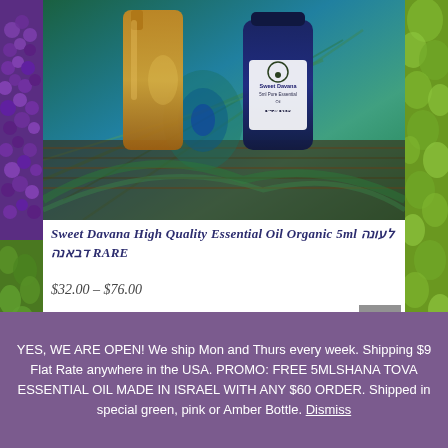[Figure (photo): Product photo of Sweet Davana essential oil bottles — a tall amber glass bottle and a dark blue labeled bottle on a colorful peacock feather background]
Sweet Davana High Quality Essential Oil Organic 5ml לעונה דבאנה RARE
$32.00 – $76.00
[Figure (photo): Partial view of another product image — green foliage/botanical background]
YES, WE ARE OPEN! We ship Mon and Thurs every week. Shipping $9 Flat Rate anywhere in the USA. PROMO: FREE 5MLSHANA TOVA ESSENTIAL OIL MADE IN ISRAEL WITH ANY $60 ORDER. Shipped in special green, pink or Amber Bottle. Dismiss